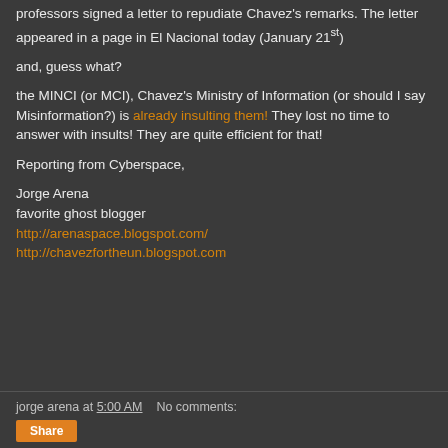professors signed a letter to repudiate Chavez's remarks. The letter appeared in a page in El Nacional today (January 21st)
and, guess what?
the MINCI (or MCI), Chavez's Ministry of Information (or should I say Misinformation?) is already insulting them! They lost no time to answer with insults! They are quite efficient for that!
Reporting from Cyberspace,
Jorge Arena
favorite ghost blogger
http://arenaspace.blogspot.com/
http://chavezfortheun.blogspot.com
jorge arena at 5:00 AM   No comments: